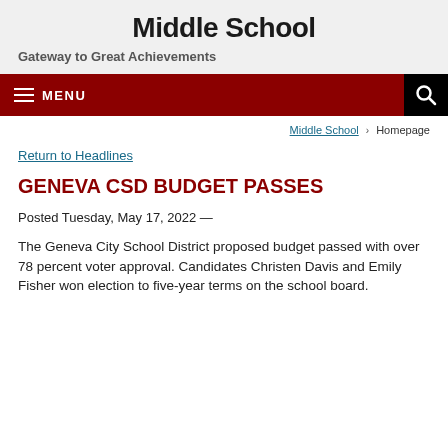Middle School
Gateway to Great Achievements
MENU | Search
Middle School › Homepage
Return to Headlines
GENEVA CSD BUDGET PASSES
Posted Tuesday, May 17, 2022 —
The Geneva City School District proposed budget passed with over 78 percent voter approval. Candidates Christen Davis and Emily Fisher won election to five-year terms on the school board.